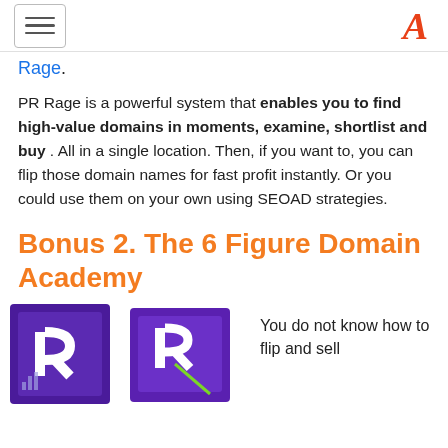[hamburger menu icon] [A logo]
Rage.
PR Rage is a powerful system that enables you to find high-value domains in moments, examine, shortlist and buy . All in a single location. Then, if you want to, you can flip those domain names for fast profit instantly. Or you could use them on your own using SEOAD strategies.
Bonus 2. The 6 Figure Domain Academy
[Figure (photo): Purple product box with letter R logo, shown twice side by side]
You do not know how to flip and sell